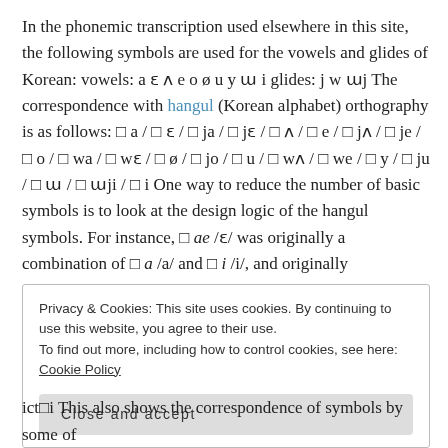In the phonemic transcription used elsewhere in this site, the following symbols are used for the vowels and glides of Korean: vowels: a ɛ ʌ e o ø u y ɯ i glides: j w ɯj The correspondence with hangul (Korean alphabet) orthography is as follows: □ a / □ ɛ / □ ja / □ jɛ / □ ʌ / □ e / □ jʌ / □ je / □ o / □ wa / □ wɛ / □ ø / □ jo / □ u / □ wʌ / □ we / □ y / □ ju / □ ɯ / □ ɯji / □ i One way to reduce the number of basic symbols is to look at the design logic of the hangul symbols. For instance, □ ae /ɛ/ was originally a combination of □ a /a/ and □ i /i/, and originally
Privacy & Cookies: This site uses cookies. By continuing to use this website, you agree to their use.
To find out more, including how to control cookies, see here: Cookie Policy
Close and accept
ict□i This also shows the correspondence of symbols by some of